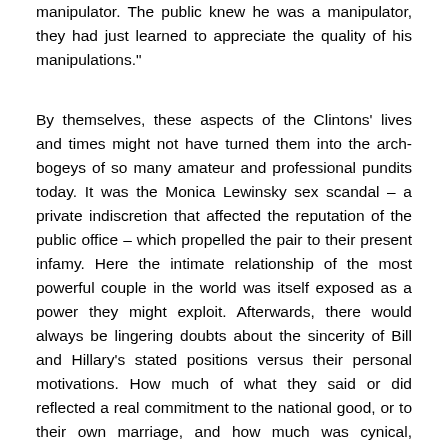manipulator. The public knew he was a manipulator, they had just learned to appreciate the quality of his manipulations."
By themselves, these aspects of the Clintons' lives and times might not have turned them into the arch-bogeys of so many amateur and professional pundits today. It was the Monica Lewinsky sex scandal – a private indiscretion that affected the reputation of the public office – which propelled the pair to their present infamy. Here the intimate relationship of the most powerful couple in the world was itself exposed as a power they might exploit. Afterwards, there would always be lingering doubts about the sincerity of Bill and Hillary's stated positions versus their personal motivations. How much of what they said or did reflected a real commitment to the national good, or to their own marriage, and how much was cynical, scripted